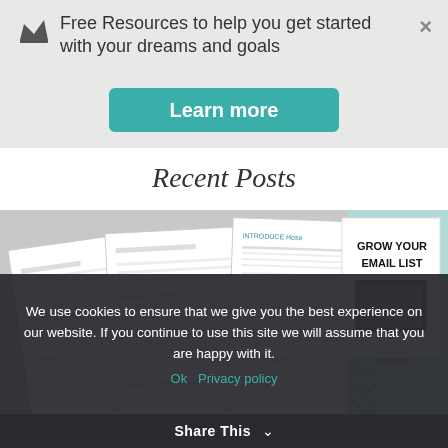Free Resources to help you get started with your dreams and goals
Learn more
Recent Posts
[Figure (photo): Photo of printed documents and a book titled 'GROW YOUR EMAIL LIST' with a tablet device on the cover, set against a light teal chevron pattern background]
We use cookies to ensure that we give you the best experience on our website. If you continue to use this site we will assume that you are happy with it.
Ok   Privacy policy
Share This